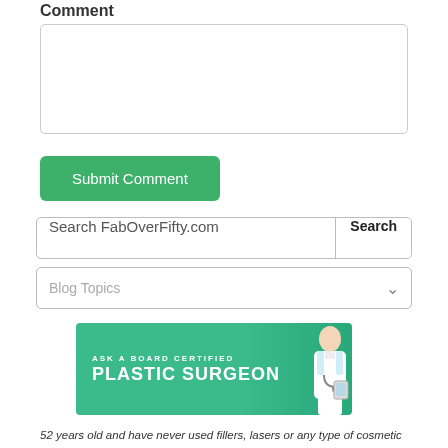Comment
[Figure (screenshot): Empty comment text area input box with rounded border]
[Figure (screenshot): Green Submit Comment button]
[Figure (screenshot): Search FabOverFifty.com search bar with Search button]
[Figure (screenshot): Blog Topics dropdown selector]
[Figure (infographic): Ask a Board Certified Plastic Surgeon banner ad with teal background and female doctor image]
52 years old and have never used fillers, lasers or any type of cosmetic in office treatment .. Now it is time. What suggestions can you offer for deep dark tired eye circles and droopy jowl area? Also, I was born with a small mole on my upper lip which now looks like smokers lips